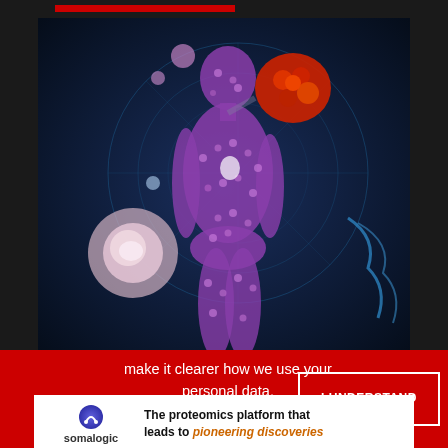[Figure (illustration): Medical illustration showing a human body silhouette made of purple/pink cellular particles against a dark blue background. Circular radar-like rings in the background. Red/orange cluster of cells (possibly cancer cells or virus) highlighted near the upper body. Large pink-white cell visible on the lower left. Blue DNA helix strand extending to the right.]
make it clearer how we use your personal data. Please read our Cookie Policy to learn how we use cookies to provide you
I UNDERSTAND
[Figure (logo): Somalogic advertisement banner. Logo with stylized blue/purple icon, somalogic brand name. Tagline: The proteomics platform that leads to pioneering discoveries]
ADVERTISEMENT